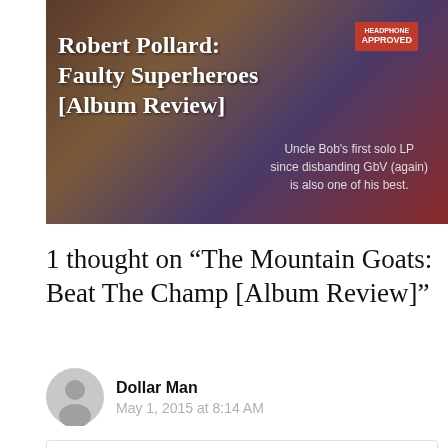[Figure (photo): Hero image for Robert Pollard: Faulty Superheroes album review, with white title text overlaid on a dark background image. A HEADPHONE APPROVED badge is visible. Subtitle text reads: Uncle Bob's first solo LP since disbanding GbV (again) is also one of his best.]
1 thought on “The Mountain Goats: Beat The Champ [Album Review]”
Dollar Man
May 1, 2015 at 8:14 AM
I’m loving this one after starting to not care about Darnielle. You can tell he really loves these